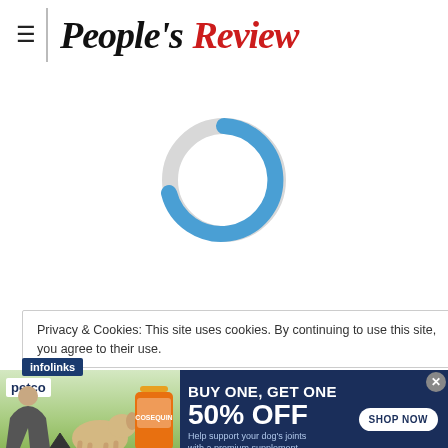People's Review
[Figure (other): Circular loading spinner with blue arc on top portion and light gray ring]
Privacy & Cookies: This site uses cookies. By continuing to use this site, you agree to their use.
[Figure (infographic): Petco advertisement banner: BUY ONE, GET ONE 50% OFF - Help support your dog's joints with a premium supplement. SHOP NOW button. Photo of woman with dog and supplement bottle.]